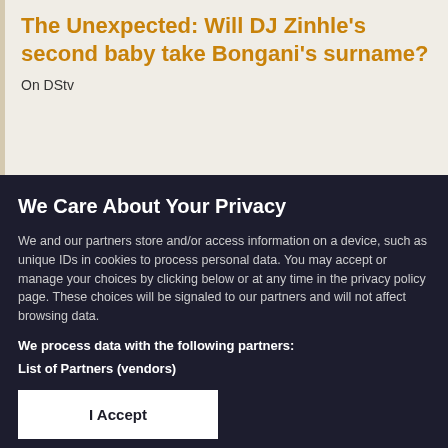The Unexpected: Will DJ Zinhle's second baby take Bongani's surname?
On DStv
We Care About Your Privacy
We and our partners store and/or access information on a device, such as unique IDs in cookies to process personal data. You may accept or manage your choices by clicking below or at any time in the privacy policy page. These choices will be signaled to our partners and will not affect browsing data.
We process data with the following partners:
List of Partners (vendors)
I Accept
Manage Cookies